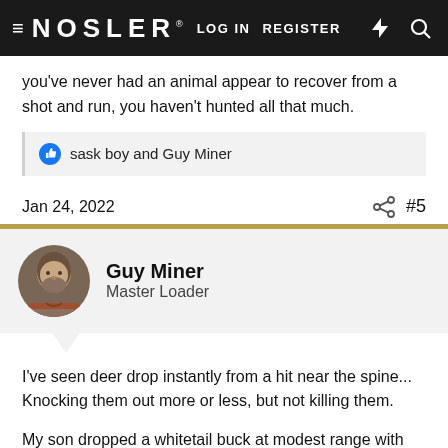≡ NOSLER® LOG IN  REGISTER  ⚡  🔍
you've never had an animal appear to recover from a shot and run, you haven't hunted all that much.
sask boy and Guy Miner
Jan 24, 2022  #5
Guy Miner
Master Loader
I've seen deer drop instantly from a hit near the spine... Knocking them out more or less, but not killing them.

My son dropped a whitetail buck at modest range with his